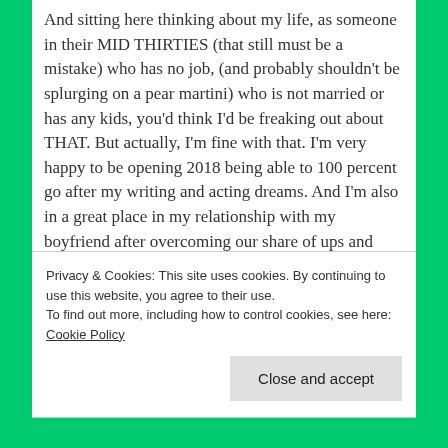And sitting here thinking about my life, as someone in their MID THIRTIES (that still must be a mistake) who has no job, (and probably shouldn't be splurging on a pear martini) who is not married or has any kids, you'd think I'd be freaking out about THAT. But actually, I'm fine with that. I'm very happy to be opening 2018 being able to 100 percent go after my writing and acting dreams. And I'm also in a great place in my relationship with my boyfriend after overcoming our share of ups and downs. Nope, what I AM freaking out about is wrinkles. And bags under
Privacy & Cookies: This site uses cookies. By continuing to use this website, you agree to their use.
To find out more, including how to control cookies, see here: Cookie Policy
Close and accept